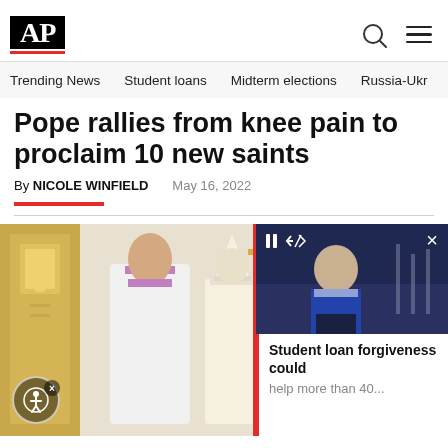AP
Trending News
Student loans
Midterm elections
Russia-Ukr
Pope rallies from knee pain to proclaim 10 new saints
By NICOLE WINFIELD   May 16, 2022
[Figure (photo): Pope and priest in ceremonial robes at a church ceremony with ornate golden backdrop; an overlaid video player showing Biden speaking at a podium with caption 'Student loan forgiveness could help more than 40...']